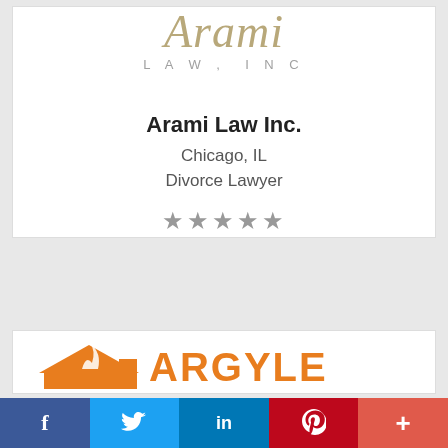[Figure (logo): Arami Law, Inc. logo in gold/khaki script font with 'LAW, INC' in spaced sans-serif below]
Arami Law Inc.
Chicago, IL
Divorce Lawyer
★★★★★
[Figure (logo): Argyle logo: orange house/flame icon with orange bold text 'ARGYLE' partially visible]
[Figure (infographic): Social sharing bar with Facebook (f), Twitter (bird), LinkedIn (in), Pinterest (P), and More (+) buttons]